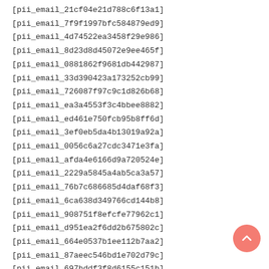[pii_email_21cf04e21d788c6f13a1]
[pii_email_7f9f1997bfc584879ed9]
[pii_email_4d74522ea3458f29e986]
[pii_email_8d23d8d45072e9ee465f]
[pii_email_0881862f9681db442987]
[pii_email_33d390423a173252cb99]
[pii_email_726087f97c9c1d826b68]
[pii_email_ea3a4553f3c4bbee8882]
[pii_email_ed461e750fcb95b8ff6d]
[pii_email_3ef0eb5da4b13019a92a]
[pii_email_0056c6a27cdc3471e3fa]
[pii_email_afda4e6166d9a720524e]
[pii_email_2229a5845a4ab5ca3a57]
[pii_email_76b7c686685d4daf68f3]
[pii_email_6ca638d349766cd144b8]
[pii_email_908751f8efcfe77962c1]
[pii_email_d951ea2f6dd2b675802c]
[pii_email_664e0537b1ee112b7aa2]
[pii_email_87aeec546bd1e702d79c]
[pii_email_697bddf3f8d6155c151b]
[pii_email_90393a431c9ad91b859c]